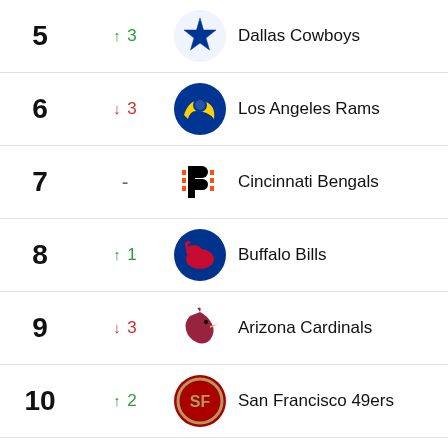| Rank | Change | Team |
| --- | --- | --- |
| 5 | ↑ 3 | Dallas Cowboys |
| 6 | ↓ 3 | Los Angeles Rams |
| 7 | - | Cincinnati Bengals |
| 8 | ↑ 1 | Buffalo Bills |
| 9 | ↓ 3 | Arizona Cardinals |
| 10 | ↑ 2 | San Francisco 49ers |
View All